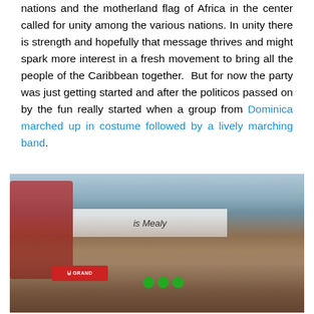nations and the motherland flag of Africa in the center called for unity among the various nations. In unity there is strength and hopefully that message thrives and might spark more interest in a fresh movement to bring all the people of the Caribbean together.  But for now the party was just getting started and after the politicos passed on by the fun really started when a group from Dominica marched up in costume followed by a lively marching band.
[Figure (photo): Outdoor parade/carnival photo showing a crowd of people. In the foreground, a smiling man wearing a red 'GRAND' sash and a woman in white with green rosettes. Behind them, more people including someone in red. A banner partially reading 'is Mealy' is visible in the background.]